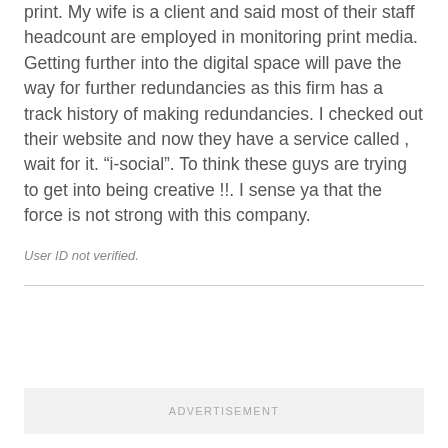print. My wife is a client and said most of their staff headcount are employed in monitoring print media. Getting further into the digital space will pave the way for further redundancies as this firm has a track history of making redundancies. I checked out their website and now they have a service called , wait for it. “i-social”. To think these guys are trying to get into being creative !!. I sense ya that the force is not strong with this company.
User ID not verified.
[Figure (other): Advertisement placeholder box with the label ADVERTISEMENT]